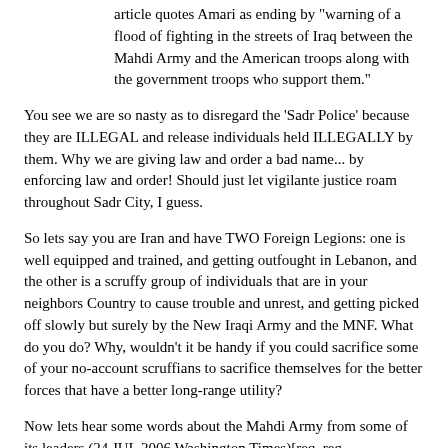article quotes Amari as ending by "warning of a flood of fighting in the streets of Iraq between the Mahdi Army and the American troops along with the government troops who support them."
You see we are so nasty as to disregard the 'Sadr Police' because they are ILLEGAL and release individuals held ILLEGALLY by them. Why we are giving law and order a bad name... by enforcing law and order! Should just let vigilante justice roam throughout Sadr City, I guess.
So lets say you are Iran and have TWO Foreign Legions: one is well equipped and trained, and getting outfought in Lebanon, and the other is a scruffy group of individuals that are in your neighbors Country to cause trouble and unrest, and getting picked off slowly but surely by the New Iraqi Army and the MNF. What do you do? Why, wouldn't it be handy if you could sacrifice some of your no-account scruffians to sacrifice themselves for the better forces that have a better long-range utility?
Now lets hear some words about the Mahdi Army from some of its leaders (24 JUL 2006 Washington Times)[req. reg.